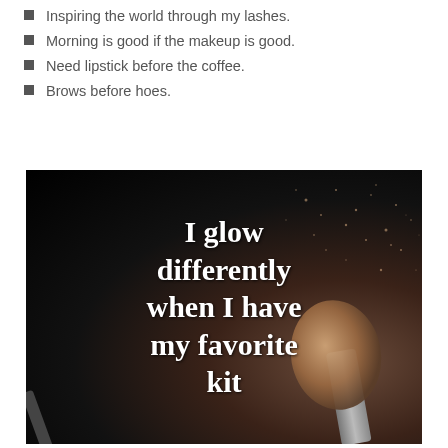Inspiring the world through my lashes.
Morning is good if the makeup is good.
Need lipstick before the coffee.
Brows before hoes.
[Figure (photo): Dark background image with a makeup brush dispersing powder with white serif text reading: I glow differently when I have my favorite kit]